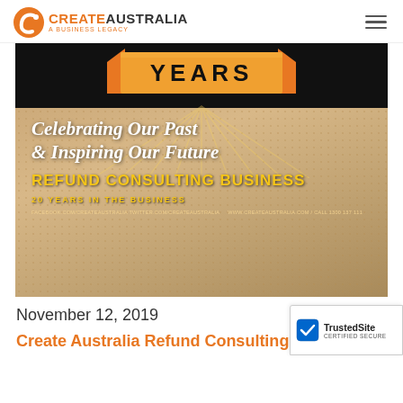CREATE AUSTRALIA — A Business Legacy (navigation bar with logo and hamburger menu)
[Figure (illustration): Promotional image for Create Australia Refund Consulting Business anniversary. Dark banner at top with orange ribbon reading 'YEARS'. Script text: 'Celebrating Our Past & Inspiring Our Future'. Bold gold text: 'REFUND CONSULTING BUSINESS'. Smaller text: '20 YEARS IN THE BUSINESS'. Contact info at bottom. Background shows celebration/party imagery with champagne glasses.]
November 12, 2019
Create Australia Refund Consulting